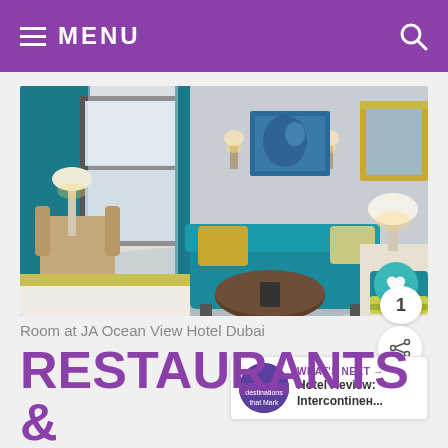MENU
[Figure (photo): Hotel room at JA Ocean View Hotel Dubai featuring teal/turquoise decor, sofa, wall sconces, patterned mirror frame, bed with yellow-green runner, and armchair]
Room at JA Ocean View Hotel Dubai
WHAT'S NEXT → Hotel Review: Intercontinен...
RESTAURANTS &